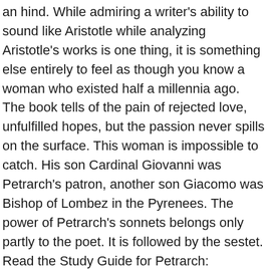an hind. While admiring a writer's ability to sound like Aristotle while analyzing Aristotle's works is one thing, it is something else entirely to feel as though you know a woman who existed half a millennia ago. The book tells of the pain of rejected love, unfulfilled hopes, but the passion never spills on the surface. This woman is impossible to catch. His son Cardinal Giovanni was Petrarch's patron, another son Giacomo was Bishop of Lombez in the Pyrenees. The power of Petrarch's sonnets belongs only partly to the poet. It is followed by the sestet. Read the Study Guide for Petrarch: Sonnets..., Petrarch and de la Vega's All-Encompassing Passion, Dis[man]tling the Blazon: The Relationship of Women and the Poetic Convention, The Unraveling of Courtly Love: Responses to Petrarchan form in Wyatt, Sidney, and Shakespeare, "Antithesis Is Essential in Petrarchan Rhetoric": Analysis of Sonnets from the Golden Age of Spanish Poetry, A Close Reading of Philip Sidney's 'Sonnet 27", View Wikipedia Entries for Petrarch: Sonnets.... Copyright © 1999 - 2021 GradeSaver LLC. Sonnets II Lyrics. 'How Do I Love